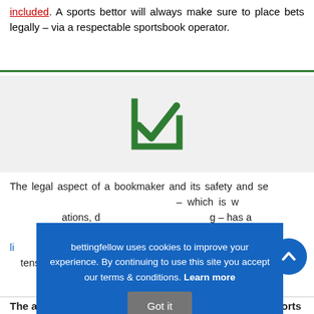included. A sports bettor will always make sure to place bets legally – via a respectable sportsbook operator.
[Figure (illustration): Green checkbox icon — a square with a checkmark inside, rendered in dark green]
The legal aspect of a bookmaker and its safety and security is one of the most important factors – which is why we always take into consideration regulations, decisions and laws when reviewing – has a sportsbook operator of fully licensed operators – you can rest assured that our reviews are extensive m...
bettingfellow uses cookies to improve your experience. By continuing to use this site you accept our terms & conditions. Learn more  Got it
The advancement of technology has revolutionised sports